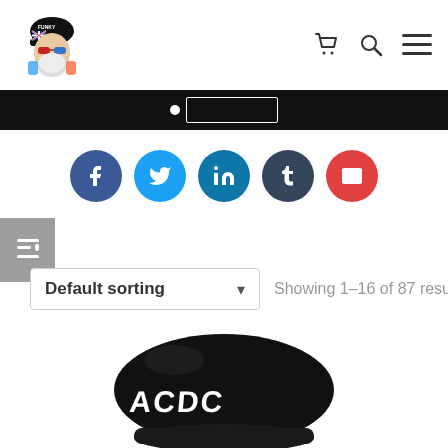[Figure (logo): Funky bearded cartoon character in a cap, colorful logo]
[Figure (photo): Dark hero/banner strip with white dot and rectangle indicator overlay]
[Figure (infographic): Row of five social share circular buttons: Facebook (blue), Twitter (light blue), LinkedIn (teal), Tumblr (dark navy), Email (red)]
[Figure (screenshot): Default sorting dropdown selector with arrow, showing 1-16 of 87 results text]
[Figure (photo): Black baseball cap with white graffiti/logo text, partially visible at bottom of page]